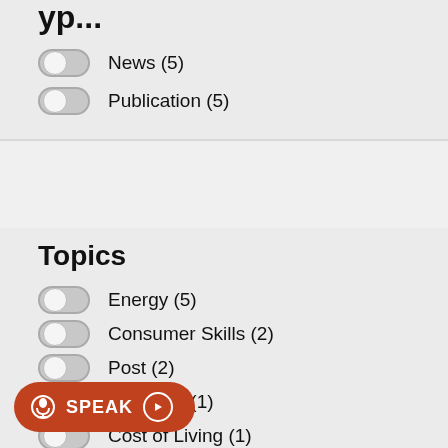News (5)
Publication (5)
Topics
Energy (5)
Consumer Skills (2)
Post (2)
Business (1)
Cost of Living (1)
EU Exit (1)
Food (1)
Personal Finances (1)
(1)